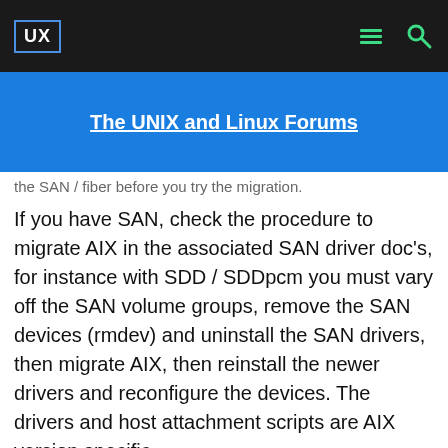UX | The UNIX and Linux Forums
the SAN / fiber before you try the migration.
If you have SAN, check the procedure to migrate AIX in the associated SAN driver doc's, for instance with SDD / SDDpcm you must vary off the SAN volume groups, remove the SAN devices (rmdev) and uninstall the SAN drivers, then migrate AIX, then reinstall the newer drivers and reconfigure the devices. The drivers and host attachment scripts are AIX version specific.
If you try booting the 5.3 disk and don't get the